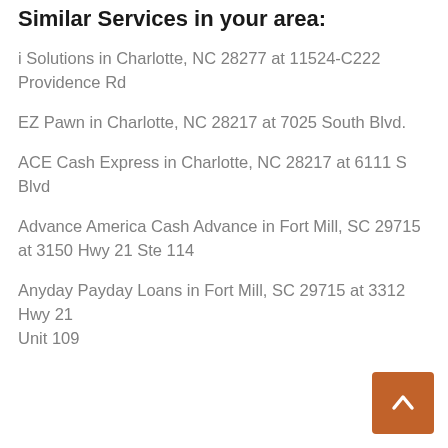Similar Services in your area:
i Solutions in Charlotte, NC 28277 at 11524-C222 Providence Rd
EZ Pawn in Charlotte, NC 28217 at 7025 South Blvd.
ACE Cash Express in Charlotte, NC 28217 at 6111 S Blvd
Advance America Cash Advance in Fort Mill, SC 29715 at 3150 Hwy 21 Ste 114
Anyday Payday Loans in Fort Mill, SC 29715 at 3312 Hwy 21 Unit 109